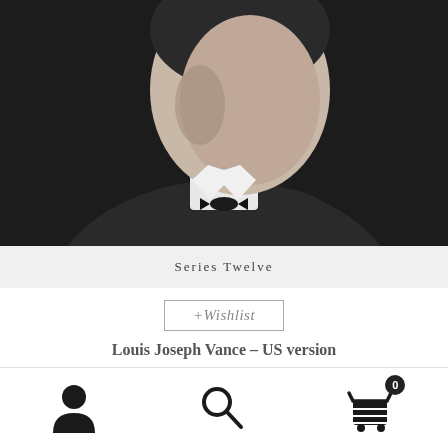[Figure (photo): Black and white portrait photograph of a man in profile/three-quarter view, wearing a suit and bow tie, shown from shoulders up against a dark background.]
Series Twelve
+Wishlist
Louis Joseph Vance – US version
$ 1.99
Add to cart